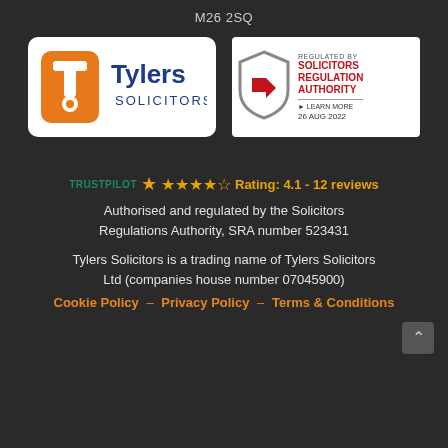M26 2SQ
[Figure (logo): Tylers Solicitors logo: orange T icon with white background and blue text 'Tylers SOLICITORS']
[Figure (logo): Solicitors Regulation Authority badge: shield with red arrow, text 'REGULATED BY SOLICITORS REGULATION AUTHORITY', LEARN MORE, 26 AUG 2022]
Rating: 4.1 - 12 reviews
Authorised and regulated by the Solicitors Regulations Authority, SRA number 523431
Tylers Solicitors is a trading name of Tylers Solicitors Ltd (companies house number 07045900)
Cookie Policy – Privacy Policy – Terms & Conditions